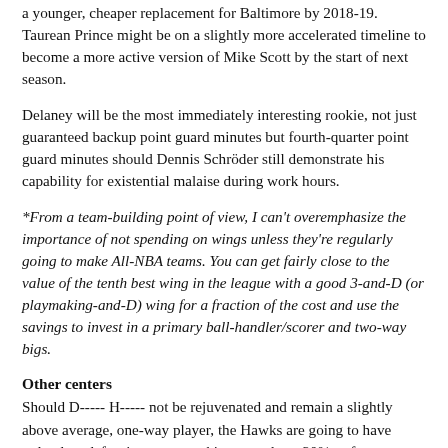a younger, cheaper replacement for Baltimore by 2018-19. Taurean Prince might be on a slightly more accelerated timeline to become a more active version of Mike Scott by the start of next season.
Delaney will be the most immediately interesting rookie, not just guaranteed backup point guard minutes but fourth-quarter point guard minutes should Dennis Schröder still demonstrate his capability for existential malaise during work hours.
*From a team-building point of view, I can't overemphasize the importance of not spending on wings unless they're regularly going to make All-NBA teams. You can get fairly close to the value of the tenth best wing in the league with a good 3-and-D (or playmaking-and-D) wing for a fraction of the cost and use the savings to invest in a primary ball-handler/scorer and two-way bigs.
Other centers
Should D----- H----- not be rejuvenated and remain a slightly above average, one-way player, the Hawks are going to have redundant defensive centers taking up at least 20%+ of